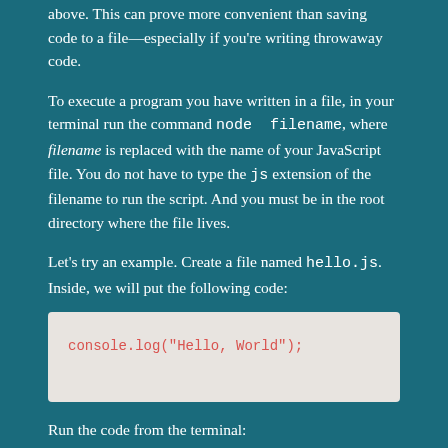above. This can prove more convenient than saving code to a file—especially if you're writing throwaway code.
To execute a program you have written in a file, in your terminal run the command node filename, where filename is replaced with the name of your JavaScript file. You do not have to type the js extension of the filename to run the script. And you must be in the root directory where the file lives.
Let's try an example. Create a file named hello.js. Inside, we will put the following code:
[Figure (screenshot): Code block showing: console.log("Hello, World");]
Run the code from the terminal:
[Figure (screenshot): Code block (partially visible at bottom of page)]